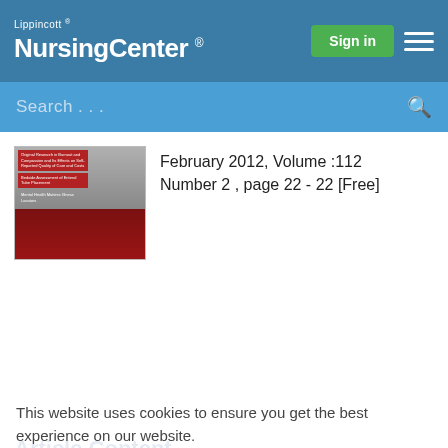Lippincott® NursingCenter®
[Figure (screenshot): Search bar with placeholder text 'Search...' and a magnifying glass icon on a blue background]
[Figure (photo): Journal cover showing a nurse attending to a patient in a hospital bed, with red and gray background and text listing article titles]
February 2012, Volume :112 Number 2 , page 22 - 22 [Free]
This website uses cookies to ensure you get the best experience on our website.
Learn more
Article Content
Got it!
AJN's Web site, http://www.ajnonline.com, offers access to current and past issues (from 1900), podcasts, article